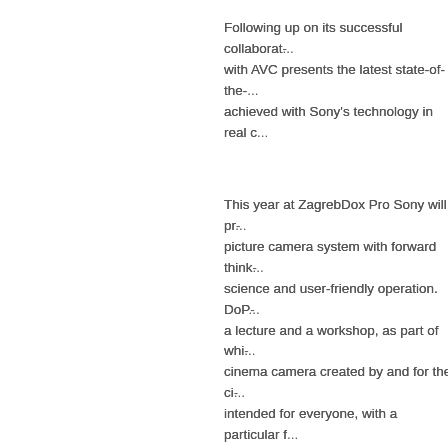Following up on its successful collaborat... with AVC presents the latest state-of-the-... achieved with Sony's technology in real c...
This year at ZagrebDox Pro Sony will pr... picture camera system with forward think... science and user-friendly operation. DoP... a lecture and a workshop, as part of whi... cinema camera created by and for the ci... intended for everyone, with a particular f...
VENICE is Sony's top-of-the line CineAlt... system. The camera features a modular... anamorphic capabilities, world first 8-ste... management system. VENICE is equipp... frame image sensor and can capture ima... x 4032. It is designed specifically for the... cinematography, meeting the needs of th... of large format image capture with excep... Sony gives users the option to customize... features they need and according to thei... Licenses will be available to expand the... including 4K anamorphic and full frame...